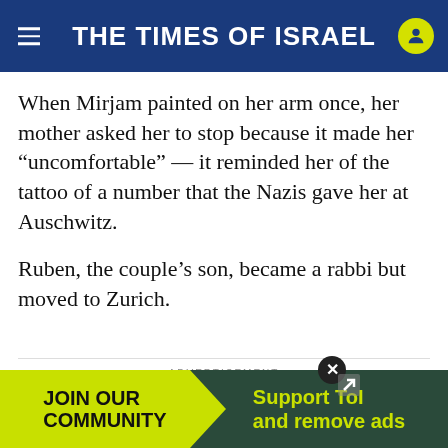THE TIMES OF ISRAEL
When Mirjam painted on her arm once, her mother asked her to stop because it made her “uncomfortable” — it reminded her of the tattoo of a number that the Nazis gave her at Auschwitz.
Ruben, the couple’s son, became a rabbi but moved to Zurich.
ADVERTISEMENT
[Figure (illustration): Advertisement for Tally: PayOff Debt Faster app with dark green logo showing double quotation mark icon and a Download button]
[Figure (illustration): Bottom banner ad: JOIN OUR COMMUNITY | Support ToI and remove ads]